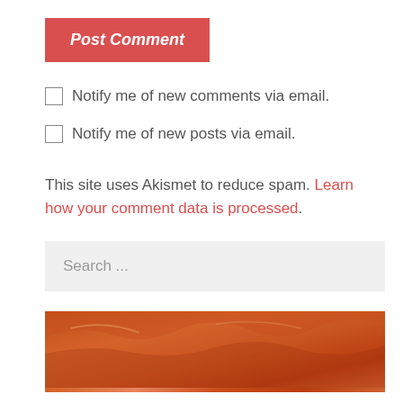[Figure (other): Red Post Comment button with italic bold white text]
Notify me of new comments via email.
Notify me of new posts via email.
This site uses Akismet to reduce spam. Learn how your comment data is processed.
Search ...
[Figure (photo): Orange/red sky banner image with bold white text reading 'Welcome to']